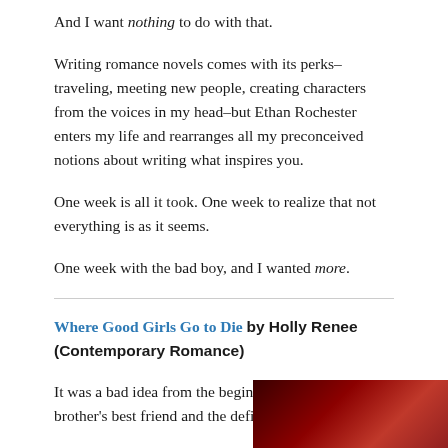And I want nothing to do with that.
Writing romance novels comes with its perks–traveling, meeting new people, creating characters from the voices in my head–but Ethan Rochester enters my life and rearranges all my preconceived notions about writing what inspires you.
One week is all it took. One week to realize that not everything is as it seems.
One week with the bad boy, and I wanted more.
Where Good Girls Go to Die by Holly Renee (Contemporary Romance)
It was a bad idea from the beginning. He was my brother's best friend and the definition of
[Figure (photo): Dark red/crimson colored image, partially visible at bottom right]